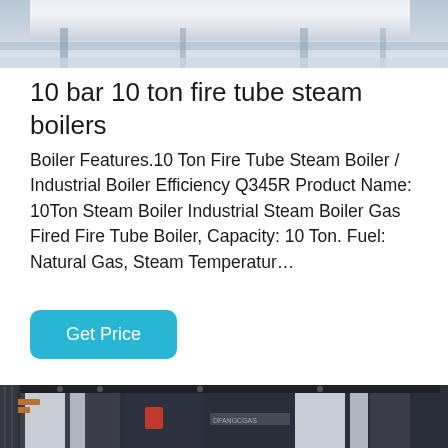[Figure (photo): Industrial facility interior showing white/grey pipes and structural elements, partial top crop of image]
10 bar 10 ton fire tube steam boilers
Boiler Features.10 Ton Fire Tube Steam Boiler / Industrial Boiler Efficiency Q345R Product Name: 10Ton Steam Boiler Industrial Steam Boiler Gas Fired Fire Tube Boiler, Capacity: 10 Ton. Fuel: Natural Gas, Steam Temperatur…
[Figure (other): Get Price button - cyan/teal rounded rectangle button]
[Figure (photo): Industrial steam boiler equipment in factory setting with dark-colored vertical boiler units. WhatsApp contact overlay with green icon and 'Contact us now!' bubble.]